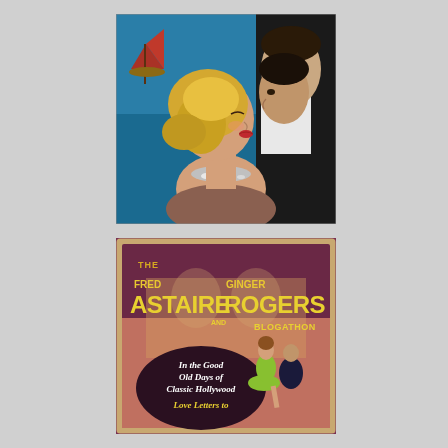[Figure (illustration): Vintage romantic movie poster illustration showing a blonde woman in profile leaning toward a dark-haired man in a suit, about to kiss, with a blue seascape and red sailboat in the background.]
[Figure (illustration): Classic Hollywood movie poster for Fred Astaire and Ginger Rogers Blogathon. Yellow text on dark purple/maroon background reads 'THE FRED ASTAIRE AND GINGER ROGERS BLOGATHON'. Dark oval contains text 'In the Good Old Days of Classic Hollywood' and 'Love Letters to'. Dancing couple in center foreground, with crowd scene behind them.]